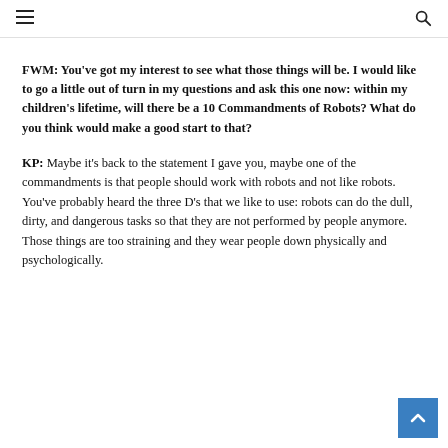FWM: You’ve got my interest to see what those things will be. I would like to go a little out of turn in my questions and ask this one now: within my children’s lifetime, will there be a 10 Commandments of Robots? What do you think would make a good start to that?
KP: Maybe it’s back to the statement I gave you, maybe one of the commandments is that people should work with robots and not like robots. You’ve probably heard the three D’s that we like to use: robots can do the dull, dirty, and dangerous tasks so that they are not performed by people anymore. Those things are too straining and they wear people down physically and psychologically.